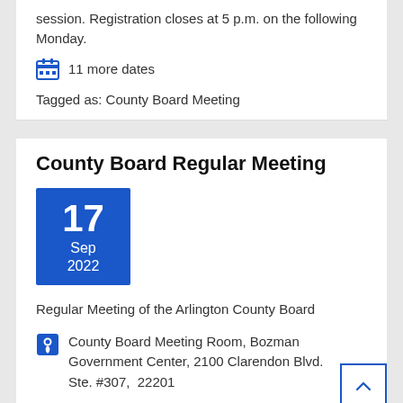session. Registration closes at 5 p.m. on the following Monday.
11 more dates
Tagged as: County Board Meeting
County Board Regular Meeting
[Figure (other): Blue calendar date box showing 17 Sep 2022]
Regular Meeting of the Arlington County Board
County Board Meeting Room, Bozman Government Center, 2100 Clarendon Blvd. Ste. #307, 22201